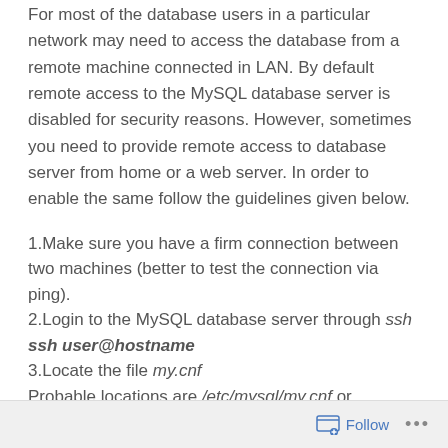For most of the database users in a particular network may need to access the database from a remote machine connected in LAN. By default remote access to the MySQL database server is disabled for security reasons. However, sometimes you need to provide remote access to database server from home or a web server. In order to enable the same follow the guidelines given below.
1.Make sure you have a firm connection between two machines (better to test the connection via ping).
2.Login to the MySQL database server through ssh
ssh user@hostname
3.Locate the file my.cnf
Probable locations are /etc/mysql/my.cnf or /etc/my.cnf.
4.Edit the file.
Follow ...